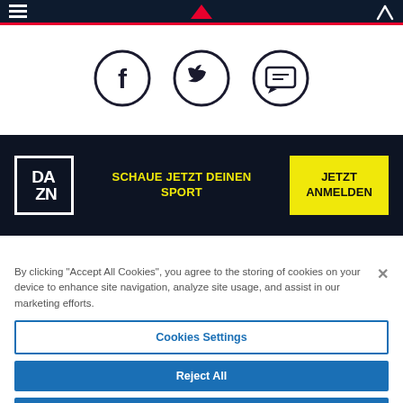[Figure (screenshot): Top navigation bar with dark navy background, red bottom border, white hamburger menu icon on left, stylized red logo in center, search icon on right]
[Figure (screenshot): Three circular social media icons: Facebook (f), Twitter (bird), and a speech bubble/chat icon, dark outlines on white background]
[Figure (screenshot): DAZN advertisement banner with dark navy background. DAZN logo in white bordered box on left, yellow text 'SCHAUE JETZT DEINEN SPORT' in center, yellow CTA button 'JETZT ANMELDEN' on right]
By clicking “Accept All Cookies”, you agree to the storing of cookies on your device to enhance site navigation, analyze site usage, and assist in our marketing efforts.
Cookies Settings
Reject All
Accept All Cookies